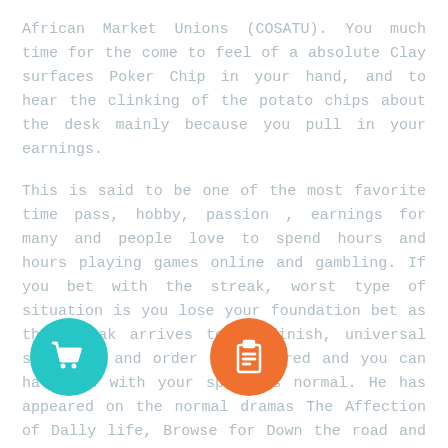African Market Unions (COSATU). You much time for the come to feel of a absolute Clay surfaces Poker Chip in your hand, and to hear the clinking of the potato chips about the desk mainly because you pull in your earnings.
This is said to be one of the most favorite time pass, hobby, passion , earnings for many and people love to spend hours and hours playing games online and gambling. If you bet with the streak, worst type of situation is you lose your foundation bet as the streak arrives to an finish, universal stability and order is restored and you can have fun with your sport as normal. He has appeared on the normal dramas The Affection of Dally life, Browse for Down the road and Times of Our Lifestyles. To receive this, most you have to can is take up the correct activity along the correct times such as specified in the web page at the moment.
[Figure (illustration): Teal circle icon with a shopping cart symbol]
[Figure (illustration): Orange circle icon with a clipboard/checklist symbol]
Our right now there will necessarily also several down sides associated with the Paulson Tophat Cane texas